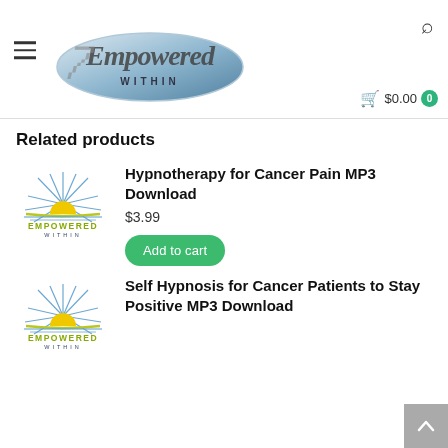[Figure (logo): Empowered Within logo — silver cursive text on blue oval with sparkle, 'WITHIN' in caps]
Related products
[Figure (logo): Empowered Within product thumbnail logo — blue sunburst with yellow/green horizon, EMPOWERED WITHIN text]
Hypnotherapy for Cancer Pain MP3 Download
$3.99
Add to cart
[Figure (logo): Empowered Within product thumbnail logo — blue sunburst with yellow/green horizon, EMPOWERED WITHIN text]
Self Hypnosis for Cancer Patients to Stay Positive MP3 Download